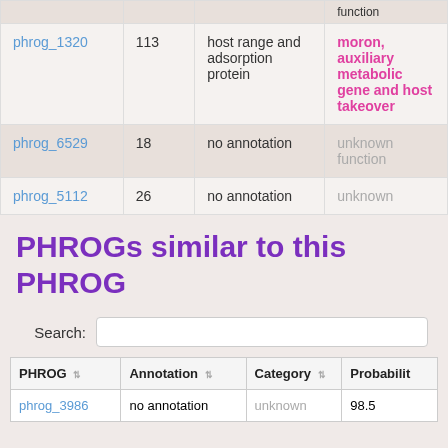| PHROG |  | Annotation | Category |
| --- | --- | --- | --- |
| phrog_1320 | 113 | host range and adsorption protein | moron, auxiliary metabolic gene and host takeover |
| phrog_6529 | 18 | no annotation | unknown function |
| phrog_5112 | 26 | no annotation | unknown |
PHROGs similar to this PHROG
Search:
| PHROG | Annotation | Category | Probabilit |
| --- | --- | --- | --- |
| phrog_3986 | no annotation | unknown | 98.5 |